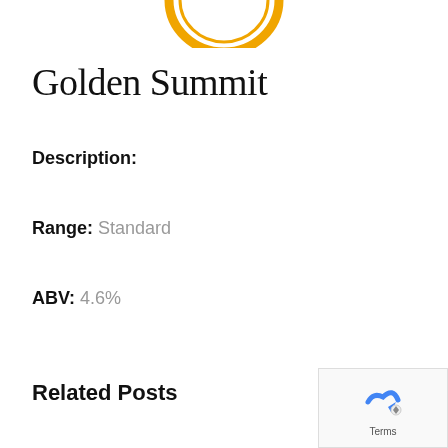[Figure (logo): Partial circular golden/orange logo or badge at the top center of the page]
Golden Summit
Description:
Range: Standard
ABV: 4.6%
Related Posts
[Figure (screenshot): reCAPTCHA widget overlay in bottom-right corner showing the reCAPTCHA logo and Terms text]